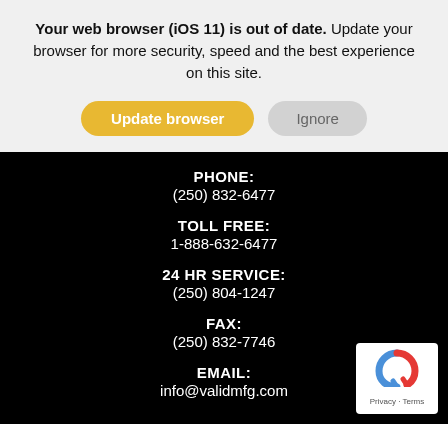Your web browser (iOS 11) is out of date. Update your browser for more security, speed and the best experience on this site.
[Figure (screenshot): Two buttons: 'Update browser' (yellow/gold rounded button) and 'Ignore' (gray rounded button)]
PHONE:
(250) 832-6477
TOLL FREE:
1-888-632-6477
24 HR SERVICE:
(250) 804-1247
FAX:
(250) 832-7746
EMAIL:
info@validmfg.com
[Figure (logo): reCAPTCHA badge with blue/red C logo and 'Privacy - Terms' text]